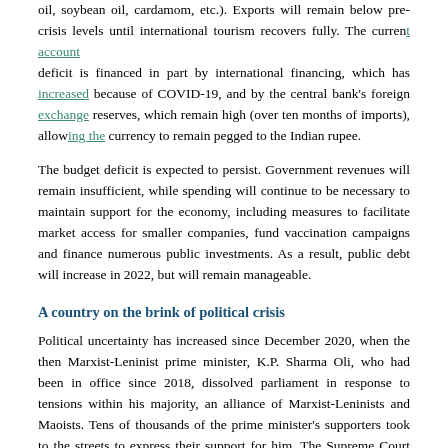oil, soybean oil, cardamom, etc.). Exports will remain below pre-crisis levels until international tourism recovers fully. The current account deficit is financed in part by international financing, which has increased because of COVID-19, and by the central bank's foreign exchange reserves, which remain high (over ten months of imports), allowing the currency to remain pegged to the Indian rupee.
The budget deficit is expected to persist. Government revenues will remain insufficient, while spending will continue to be necessary to maintain support for the economy, including measures to facilitate market access for smaller companies, fund vaccination campaigns and finance numerous public investments. As a result, public debt will increase in 2022, but will remain manageable.
A country on the brink of political crisis
Political uncertainty has increased since December 2020, when the then Marxist-Leninist prime minister, K.P. Sharma Oli, who had been in office since 2018, dissolved parliament in response to tensions within his majority, an alliance of Marxist-Leninists and Maoists. Tens of thousands of the prime minister's supporters took to the streets to express their support for him. The Supreme Court overturned the dissolution decision and reinstated parliament in February 2021, precipitating a split in the two-party majority coalition. In May, after trying for a second time to dissolve parliament, Oli lost a confidence vote. After a final attempt by the prime minister in July 2021, the Supreme Court finally removed him from office and appointed the main opposition leader, Sher Bahadur Deuba, a member of the Nepali Congress (NC) party, in his place. The new prime minister-designate, who will be taking up the post for the fourth time, faces many challenges, which include